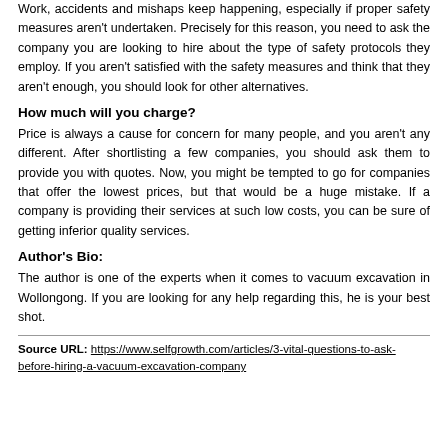Work, accidents and mishaps keep happening, especially if proper safety measures aren't undertaken. Precisely for this reason, you need to ask the company you are looking to hire about the type of safety protocols they employ. If you aren't satisfied with the safety measures and think that they aren't enough, you should look for other alternatives.
How much will you charge?
Price is always a cause for concern for many people, and you aren't any different. After shortlisting a few companies, you should ask them to provide you with quotes. Now, you might be tempted to go for companies that offer the lowest prices, but that would be a huge mistake. If a company is providing their services at such low costs, you can be sure of getting inferior quality services.
Author's Bio:
The author is one of the experts when it comes to vacuum excavation in Wollongong. If you are looking for any help regarding this, he is your best shot.
Source URL: https://www.selfgrowth.com/articles/3-vital-questions-to-ask-before-hiring-a-vacuum-excavation-company